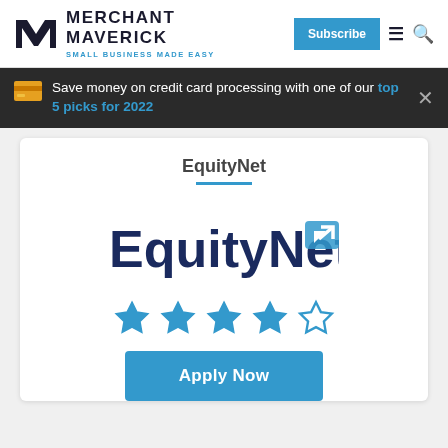Merchant Maverick — SMALL BUSINESS MADE EASY
Save money on credit card processing with one of our top 5 picks for 2022
EquityNet
[Figure (logo): EquityNet logo with dark blue text and light blue arrow/link icon]
[Figure (other): 4 out of 5 stars rating in blue]
Apply Now